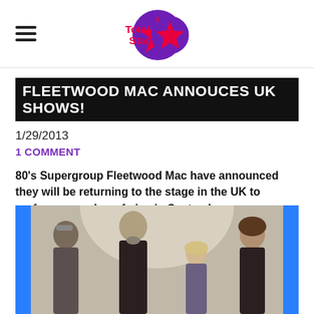Total Star
FLEETWOOD MAC ANNOUCES UK SHOWS!
1/29/2013
1 COMMENT
80's Supergroup Fleetwood Mac have announced they will be returning to the stage in the UK to perform a number of gigs in September.
[Figure (photo): Band photo of Fleetwood Mac members, four people standing together against a neutral background]